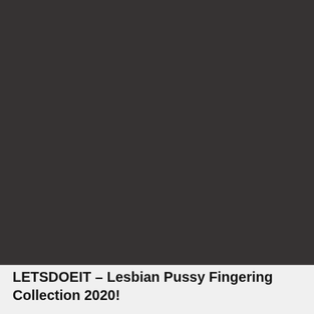[Figure (photo): Dark gray/charcoal colored rectangular image area occupying the top portion of the page]
LETSDOEIT – Lesbian Pussy Fingering Collection 2020!